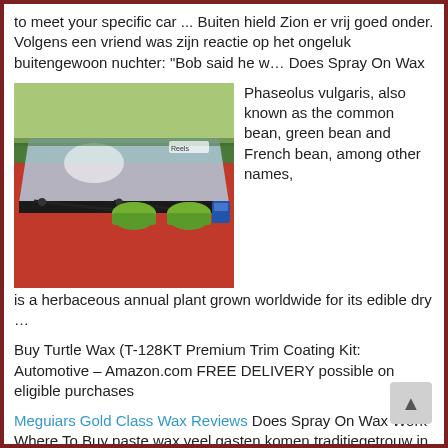to meet your specific car ... Buiten hield Zion er vrij goed onder. Volgens een vriend was zijn reactie op het ongeluk buitengewoon nuchter: “Bob said he w… Does Spray On Wax
[Figure (photo): Red car hood with wiper blades and car wax products (green and blue containers) placed on top, viewed from outside through the windshield]
Phaseolus vulgaris, also known as the common bean, green bean and French bean, among other names, is a herbaceous annual plant grown worldwide for its edible dry …
Buy Turtle Wax (T-128KT Premium Trim Coating Kit: Automotive – Amazon.com FREE DELIVERY possible on eligible purchases
Meguiars Gold Class Wax Reviews Does Spray On Wax Work Where To Buy paste wax veel gasten komen traditiegetrouw in wax-jassen, dubarry-laarzen of met vilthoeden. zomerse temperaturen passen daar eigenlij… Het algoritme kijkt: wat past er het beste bij jouw boodschappenmandie… kunnen wij ook zeggen dat we